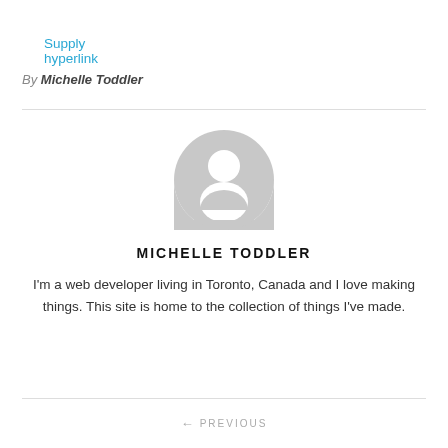Supply hyperlink
By Michelle Toddler
[Figure (illustration): Generic user avatar placeholder — grey circle with white silhouette of a person]
MICHELLE TODDLER
I'm a web developer living in Toronto, Canada and I love making things. This site is home to the collection of things I've made.
← PREVIOUS